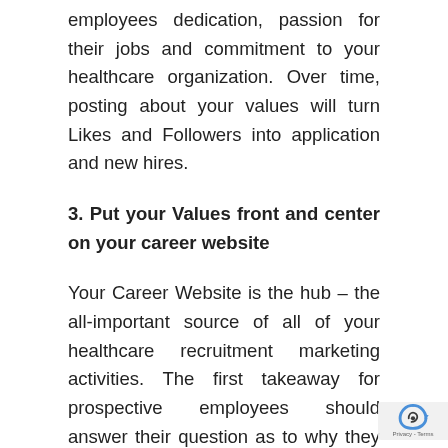employees dedication, passion for their jobs and commitment to your healthcare organization. Over time, posting about your values will turn Likes and Followers into application and new hires.
3. Put your Values front and center on your career website
Your Career Website is the hub – the all-important source of all of your healthcare recruitment marketing activities. The first takeaway for prospective employees should answer their question as to why they should work for your company and no better way to do that than by illustrating your company's...